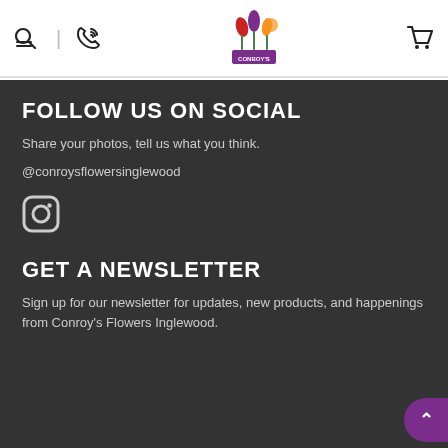Conroy's Flowers — site header with search, phone, logo, and cart icons
FOLLOW US ON SOCIAL
Share your photos, tell us what you think.
@conroysflowersinglewood
[Figure (logo): Instagram icon]
GET A NEWSLETTER
Sign up for our newsletter for updates, new products, and happenings from Conroy's Flowers Inglewood.